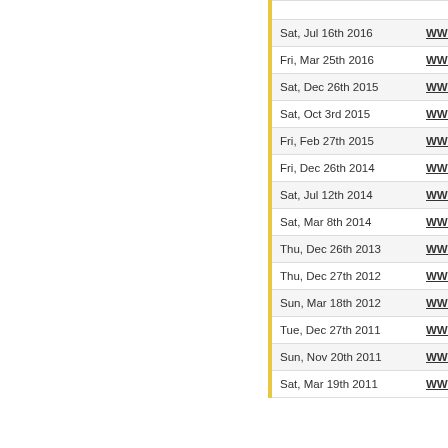| Date | Network |
| --- | --- |
| Sat, Jul 16th 2016 | WWE |
| Fri, Mar 25th 2016 | WWE |
| Sat, Dec 26th 2015 | WWE |
| Sat, Oct 3rd 2015 | WWE |
| Fri, Feb 27th 2015 | WWE |
| Fri, Dec 26th 2014 | WWE |
| Sat, Jul 12th 2014 | WWE |
| Sat, Mar 8th 2014 | WWE |
| Thu, Dec 26th 2013 | WWE |
| Thu, Dec 27th 2012 | WWE |
| Sun, Mar 18th 2012 | WWE |
| Tue, Dec 27th 2011 | WWE |
| Sun, Nov 20th 2011 | WWE |
| Sat, Mar 19th 2011 | WWE |